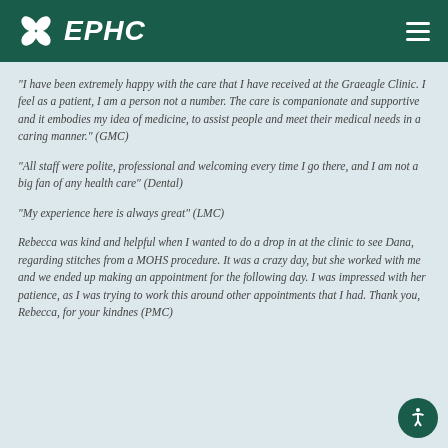EPHC
“I have been extremely happy with the care that I have received at the Graeagle Clinic. I feel as a patient, I am a person not a number. The care is companionate and supportive and it embodies my idea of medicine, to assist people and meet their medical needs in a caring manner.” (GMC)
“All staff were polite, professional and welcoming every time I go there, and I am not a big fan of any health care” (Dental)
“My experience here is always great” (LMC)
Rebecca was kind and helpful when I wanted to do a drop in at the clinic to see Dana, regarding stitches from a MOHS procedure. It was a crazy day, but she worked with me and we ended up making an appointment for the following day. I was impressed with her patience, as I was trying to work this around other appointments that I had. Thank you, Rebecca, for your kindness (PMC)